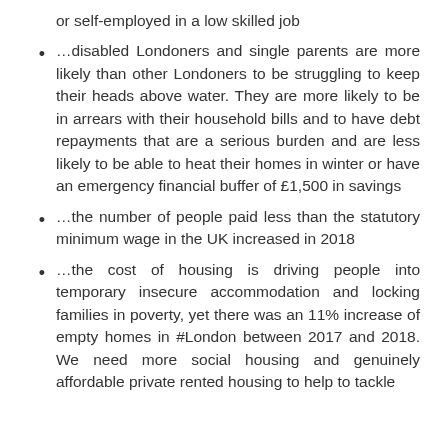or self-employed in a low skilled job
…disabled Londoners and single parents are more likely than other Londoners to be struggling to keep their heads above water. They are more likely to be in arrears with their household bills and to have debt repayments that are a serious burden and are less likely to be able to heat their homes in winter or have an emergency financial buffer of £1,500 in savings
…the number of people paid less than the statutory minimum wage in the UK increased in 2018
…the cost of housing is driving people into temporary insecure accommodation and locking families in poverty, yet there was an 11% increase of empty homes in #London between 2017 and 2018. We need more social housing and genuinely affordable private rented housing to help to tackle